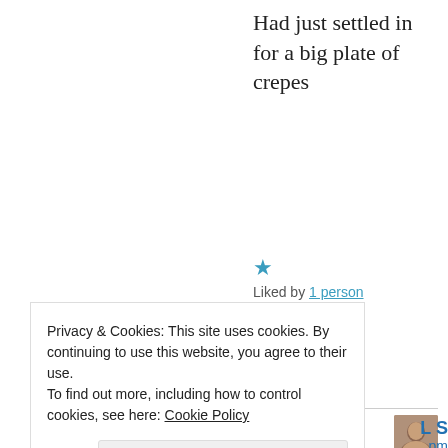Had just settled in for a big plate of crepes
★ Liked by 1 person
↩ Reply
[Figure (photo): Small avatar photo of a person]
L S
N
Privacy & Cookies: This site uses cookies. By continuing to use this website, you agree to their use. To find out more, including how to control cookies, see here: Cookie Policy
Close and accept
pm